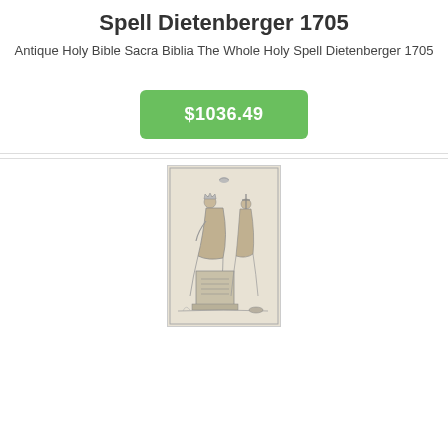Spell Dietenberger 1705
Antique Holy Bible Sacra Biblia The Whole Holy Spell Dietenberger 1705
$1036.49
[Figure (photo): Antique engraving from a 1705 Holy Bible (Dietenberger), showing a seated crowned figure in robes leaning on a plinth with inscribed text, with another figure holding a cross and globe, and a dove above.]